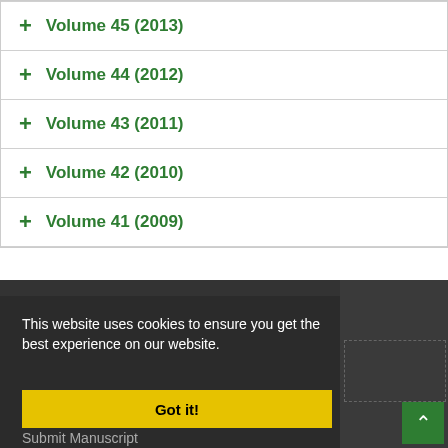+ Volume 45 (2013)
+ Volume 44 (2012)
+ Volume 43 (2011)
+ Volume 42 (2010)
+ Volume 41 (2009)
This website uses cookies to ensure you get the best experience on our website.
Got it!
Submit Manuscript